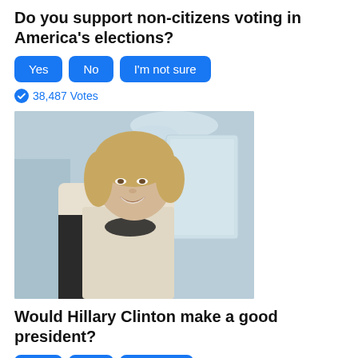Do you support non-citizens voting in America's elections?
Yes | No | I'm not sure
38,487 Votes
[Figure (photo): Photo of Hillary Clinton smiling in a light-colored jacket with a dark beaded necklace, in a blue-decorated interior setting.]
Would Hillary Clinton make a good president?
Yes | No | Not sure
11,603 Votes